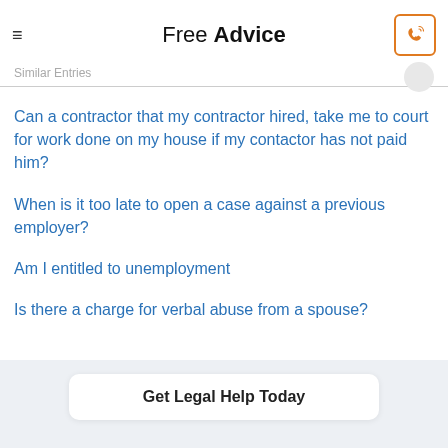Free Advice
Similar Entries
Can a contractor that my contractor hired, take me to court for work done on my house if my contactor has not paid him?
When is it too late to open a case against a previous employer?
Am I entitled to unemployment
Is there a charge for verbal abuse from a spouse?
Get Legal Help Today